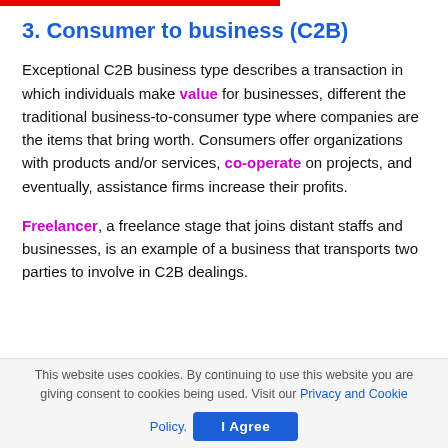3. Consumer to business (C2B)
Exceptional C2B business type describes a transaction in which individuals make value for businesses, different the traditional business-to-consumer type where companies are the items that bring worth. Consumers offer organizations with products and/or services, co-operate on projects, and eventually, assistance firms increase their profits.
Freelancer, a freelance stage that joins distant staffs and businesses, is an example of a business that transports two parties to involve in C2B dealings.
This website uses cookies. By continuing to use this website you are giving consent to cookies being used. Visit our Privacy and Cookie Policy.  I Agree